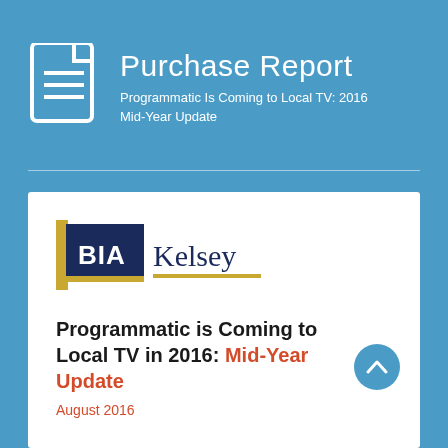Purchase Report
Programmatic Is Coming to Local TV: 2016 Mid-Year Update
[Figure (logo): BIA Kelsey logo — navy blue square with 'BIA' in white text, gold horizontal bar below, 'Kelsey' in navy serif text to the right]
Programmatic is Coming to Local TV in 2016: Mid-Year Update
August 2016